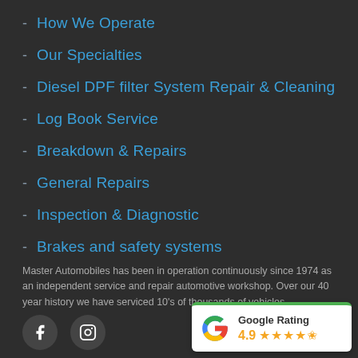How We Operate
Our Specialties
Diesel DPF filter System Repair & Cleaning
Log Book Service
Breakdown & Repairs
General Repairs
Inspection & Diagnostic
Brakes and safety systems
Master Automobiles has been in operation continuously since 1974 as an independent service and repair automotive workshop. Over our 40 year history we have serviced 10's of thousands of vehicles.
[Figure (infographic): Google Rating badge showing 4.9 stars out of 5 with Google G logo and green top border]
[Figure (infographic): Social media icons: Facebook and Instagram in circular grey buttons]